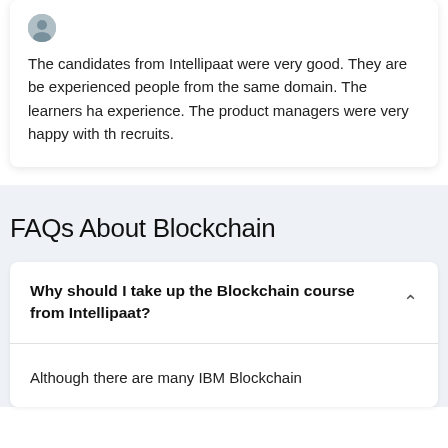The candidates from Intellipaat were very good. They are be... experienced people from the same domain. The learners ha... experience. The product managers were very happy with th... recruits.
FAQs About Blockchain
Why should I take up the Blockchain course from Intellipaat?
Although there are many IBM Blockchain